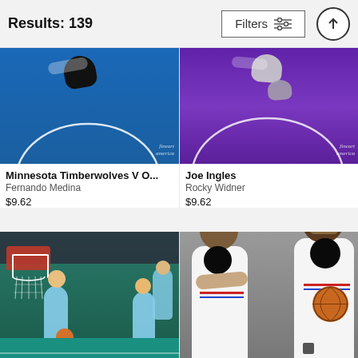Results: 139 | Filters
[Figure (photo): Aerial view of basketball court with blue floor, Minnesota Timberwolves game]
Minnesota Timberwolves V O...
Fernando Medina
$9.62
[Figure (photo): Aerial view of basketball court with purple floor, Joe Ingles game photo]
Joe Ingles
Rocky Widner
$9.62
[Figure (photo): USA basketball players on court during dunk contest, players in light blue USA jerseys]
[Figure (photo): Two Milwaukee Bucks players in white All-Star jerseys posing with basketball against grey background]